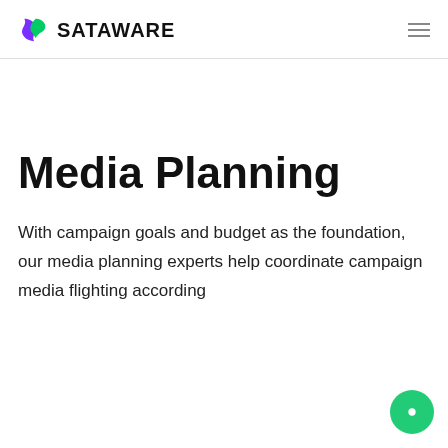SATAWARE
Media Planning
With campaign goals and budget as the foundation, our media planning experts help coordinate campaign media flighting according